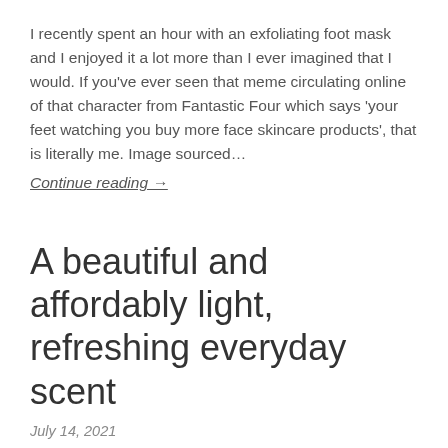I recently spent an hour with an exfoliating foot mask and I enjoyed it a lot more than I ever imagined that I would. If you've ever seen that meme circulating online of that character from Fantastic Four which says 'your feet watching you buy more face skincare products', that is literally me. Image sourced…
Continue reading →
A beautiful and affordably light, refreshing everyday scent
July 14, 2021